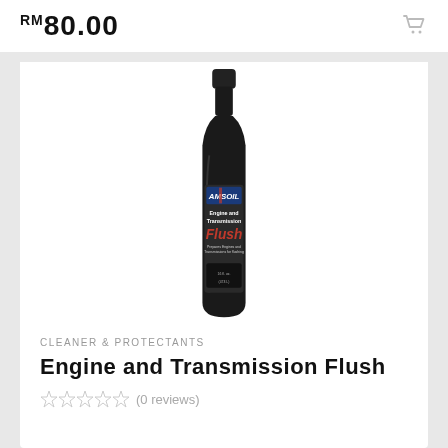RM80.00
[Figure (photo): AMSOIL Engine and Transmission Flush bottle — dark/black bottle with label showing the product name in red and white text]
CLEANER & PROTECTANTS
Engine and Transmission Flush
(0 reviews)